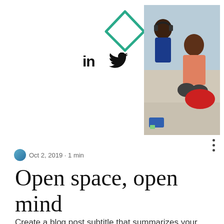[Figure (logo): Green outline diamond/rhombus logo]
[Figure (illustration): LinkedIn 'in' icon and Twitter bird icon, social media share buttons]
[Figure (photo): Photo of people sitting on the floor in an open office space, one wearing headphones]
[Figure (other): Hamburger menu icon (three horizontal lines)]
[Figure (other): Three vertical dots (more options menu)]
Oct 2, 2019 · 1 min
Open space, open mind
Create a blog post subtitle that summarizes your post in a few short, punchy sentences and entices your audience to continue reading.